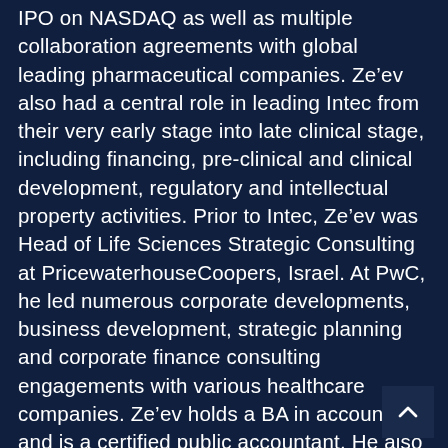IPO on NASDAQ as well as multiple collaboration agreements with global leading pharmaceutical companies. Ze’ev also had a central role in leading Intec from their very early stage into late clinical stage, including financing, pre-clinical and clinical development, regulatory and intellectual property activities. Prior to Intec, Ze’ev was Head of Life Sciences Strategic Consulting at PricewaterhouseCoopers, Israel. At PwC, he led numerous corporate developments, business development, strategic planning and corporate finance consulting engagements with various healthcare companies. Ze’ev holds a BA in accounting and is a certified public accountant. He also earned a B.Sc in Biology and has